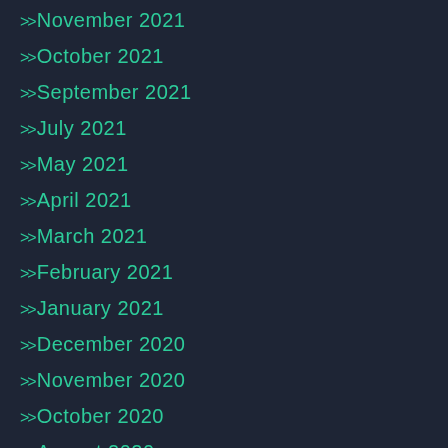>>November 2021
>>October 2021
>>September 2021
>>July 2021
>>May 2021
>>April 2021
>>March 2021
>>February 2021
>>January 2021
>>December 2020
>>November 2020
>>October 2020
>>August 2020
>>July 2020
>>June 2020